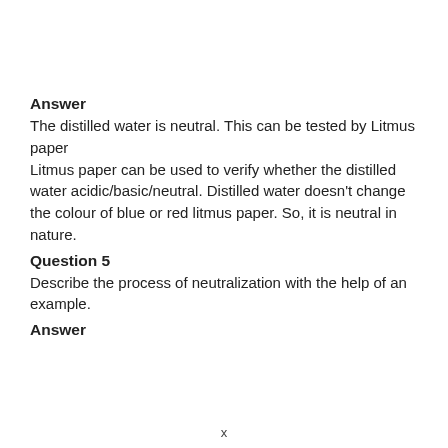Answer
The distilled water is neutral. This can be tested by Litmus paper
Litmus paper can be used to verify whether the distilled water acidic/basic/neutral. Distilled water doesn't change the colour of blue or red litmus paper. So, it is neutral in nature.
Question 5
Describe the process of neutralization with the help of an example.
Answer
x